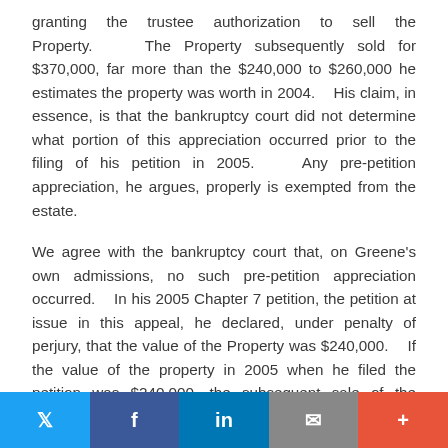granting the trustee authorization to sell the Property.    The Property subsequently sold for $370,000, far more than the $240,000 to $260,000 he estimates the property was worth in 2004.    His claim, in essence, is that the bankruptcy court did not determine what portion of this appreciation occurred prior to the filing of his petition in 2005.    Any pre-petition appreciation, he argues, properly is exempted from the estate.
We agree with the bankruptcy court that, on Greene's own admissions, no such pre-petition appreciation occurred.    In his 2005 Chapter 7 petition, the petition at issue in this appeal, he declared, under penalty of perjury, that the value of the Property was $240,000.    If the value of the property in 2005 when he filed the petition was $240,000, the subsequent sale of the property for a higher amount necessarily captures only post-petition appreciation
Twitter | Facebook | LinkedIn | Email | +